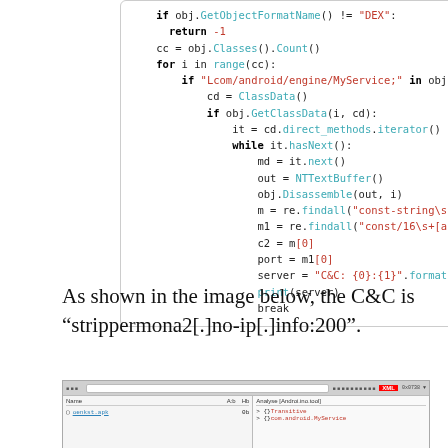[Figure (screenshot): Code block showing Python code for extracting C&C server from DEX file using regex and Disassemble method]
As shown in the image below, the C&C is “strippermona2[.]no-ip[.]info:200”.
[Figure (screenshot): Screenshot of a tool or debugger window showing analysis results with file listing and output panel]